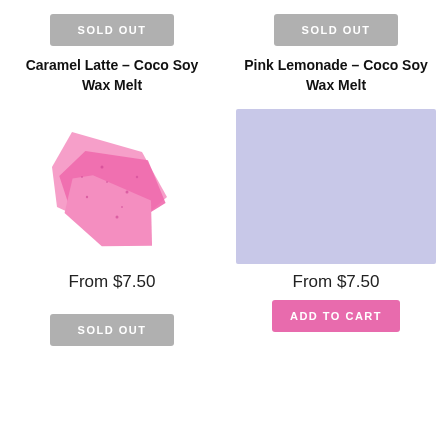[Figure (other): Gray 'SOLD OUT' button for Caramel Latte product]
[Figure (other): Gray 'SOLD OUT' button for Pink Lemonade product]
Caramel Latte – Coco Soy Wax Melt
Pink Lemonade – Coco Soy Wax Melt
[Figure (photo): Pink wax melt pieces scattered on white background]
[Figure (illustration): Light purple/lavender rectangle placeholder image]
From $7.50
From $7.50
[Figure (other): Gray 'SOLD OUT' button]
[Figure (other): Pink 'ADD TO CART' button]